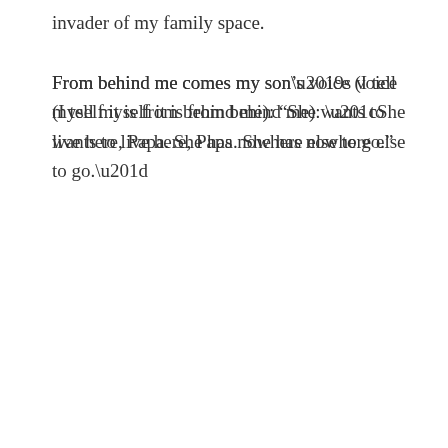invader of my family space.
From behind me comes my son’s voice (I tell myself it is from behind me): “She wants to live here, Papa. She has nowhere else to go.”
I am the bear. I have sworn to eat.
Tears rush into his voice. “Please let her stay.” Like blood, tears are trespassers, going where they shouldn’t. Dark contents spilled from cabinets meant to stay closed. I want to push it all back in, slam the doors, but it is spilling out of me now too.
Beyond the girl at the far end of the hall, my